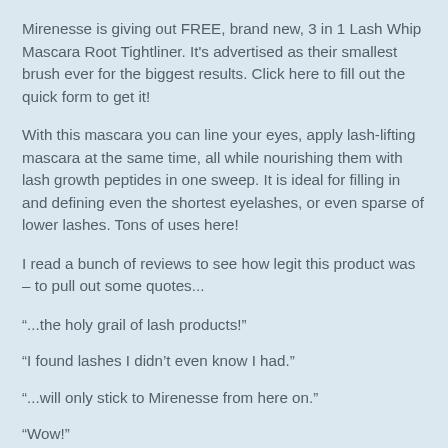Mirenesse is giving out FREE, brand new, 3 in 1 Lash Whip Mascara Root Tightliner. It's advertised as their smallest brush ever for the biggest results. Click here to fill out the quick form to get it!
With this mascara you can line your eyes, apply lash-lifting mascara at the same time, all while nourishing them with lash growth peptides in one sweep. It is ideal for filling in and defining even the shortest eyelashes, or even sparse of lower lashes. Tons of uses here!
I read a bunch of reviews to see how legit this product was – to pull out some quotes...
“...the holy grail of lash products!”
“I found lashes I didn’t even know I had.”
“...will only stick to Mirenesse from here on.”
“Wow!”